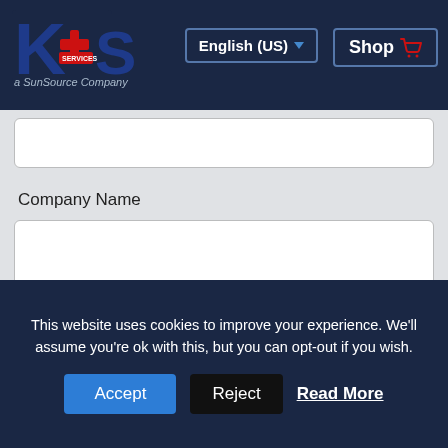[Figure (logo): K+S Services a SunSource Company logo — blue and red letters on dark navy background]
English (US)
Shop
Company Name
Email *
This website uses cookies to improve your experience. We'll assume you're ok with this, but you can opt-out if you wish.
Accept
Reject
Read More